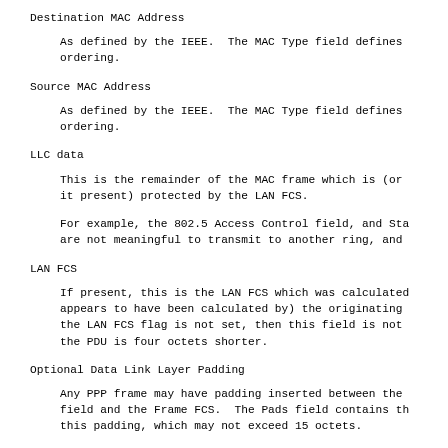Destination MAC Address
As defined by the IEEE.  The MAC Type field defines ordering.
Source MAC Address
As defined by the IEEE.  The MAC Type field defines ordering.
LLC data
This is the remainder of the MAC frame which is (or it present) protected by the LAN FCS.
For example, the 802.5 Access Control field, and Sta are not meaningful to transmit to another ring, and
LAN FCS
If present, this is the LAN FCS which was calculated appears to have been calculated by) the originating the LAN FCS flag is not set, then this field is not the PDU is four octets shorter.
Optional Data Link Layer Padding
Any PPP frame may have padding inserted between the field and the Frame FCS.  The Pads field contains th this padding, which may not exceed 15 octets.